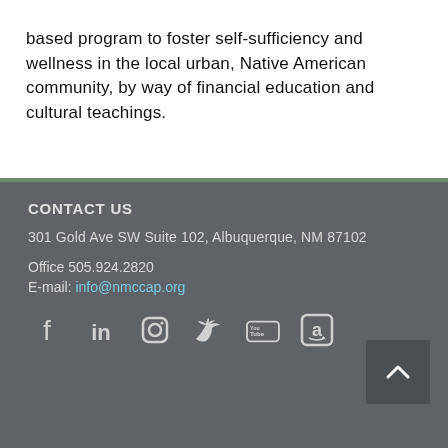based program to foster self-sufficiency and wellness in the local urban, Native American community, by way of financial education and cultural teachings.
CONTACT US
301 Gold Ave SW Suite 102, Albuquerque, NM 87102
Office 505.924.2820
E-mail: info@nmccap.org
[Figure (infographic): Social media icons: Facebook, LinkedIn, Instagram, Twitter, YouTube, Amazon]